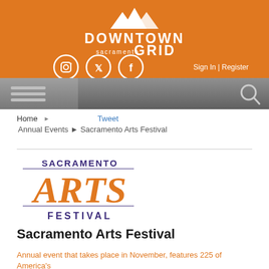[Figure (logo): Downtown Sacramento Grid website header with orange background, mountain logo, social media icons (Instagram, Twitter, Facebook), and Sign In | Register text]
[Figure (screenshot): Gray navigation bar with hamburger menu lines on left and search icon on right]
Home ▶ Tweet
Annual Events ▶ Sacramento Arts Festival
[Figure (logo): Sacramento Arts Festival logo with orange decorative ARTS text and purple SACRAMENTO and FESTIVAL text]
Sacramento Arts Festival
Annual event that takes place in November, features 225 of America's